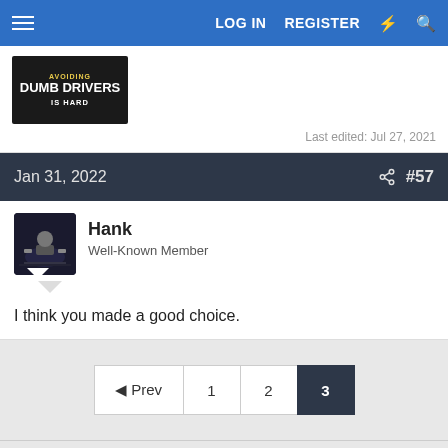LOG IN  REGISTER
[Figure (screenshot): Image with text: AVOIDING DUMB DRIVERS IS HARD on dark background]
Last edited: Jul 27, 2021
Jan 31, 2022  #57
Hank
Well-Known Member
I think you made a good choice.
◄ Prev  1  2  3